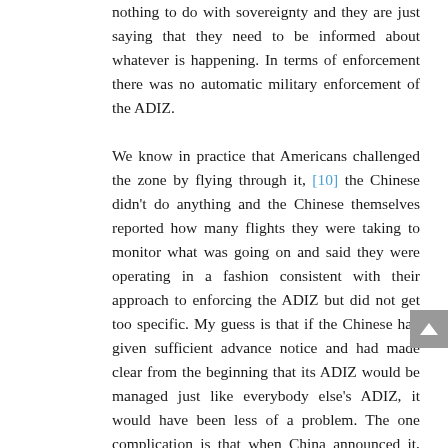nothing to do with sovereignty and they are just saying that they need to be informed about whatever is happening. In terms of enforcement there was no automatic military enforcement of the ADIZ.

We know in practice that Americans challenged the zone by flying through it, [10] the Chinese didn't do anything and the Chinese themselves reported how many flights they were taking to monitor what was going on and said they were operating in a fashion consistent with their approach to enforcing the ADIZ but did not get too specific. My guess is that if the Chinese had given sufficient advance notice and had made clear from the beginning that its ADIZ would be managed just like everybody else's ADIZ, it would have been less of a problem. The one complication is that when China announced it, the reporting in the West was that China has an ADIZ that goes very far out and covers the disputed territories with Japan. If China had taken the time to explain why they were going to draw the line where they did, they could have argued that they were simply doing the mirror image of what Japan did. In